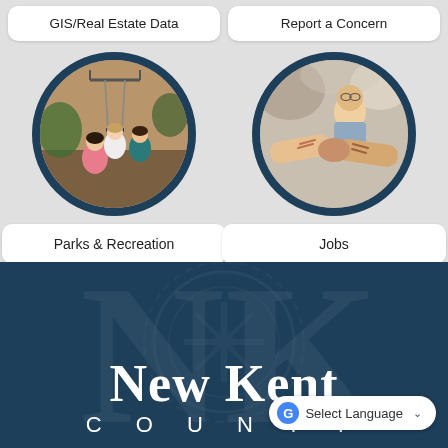GIS/Real Estate Data
Report a Concern
[Figure (photo): Children playing on a playground swing set — circular framed photo]
Parks & Recreation
[Figure (photo): Two people shaking hands, smiling man in background — circular framed photo]
Jobs
[Figure (logo): New Kent County logo — white serif text on dark navy background with watermark seal]
Select Language